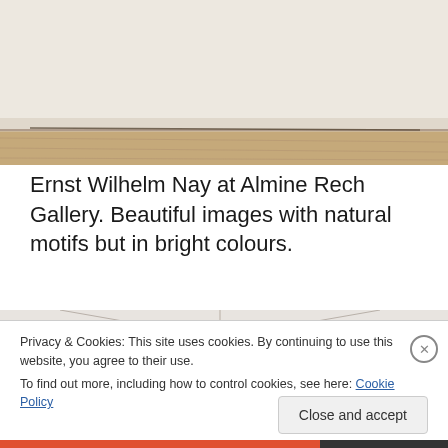[Figure (photo): Interior gallery wall photo, partially visible showing light beige wall and wooden floor edge, cropped at top of page.]
Ernst Wilhelm Nay at Almine Rech Gallery. Beautiful images with natural motifs but in bright colours.
[Figure (photo): Interior gallery corner photo showing white walls meeting at corner, with a dark-colored artwork partially visible at lower right.]
Privacy & Cookies: This site uses cookies. By continuing to use this website, you agree to their use.
To find out more, including how to control cookies, see here: Cookie Policy
Close and accept